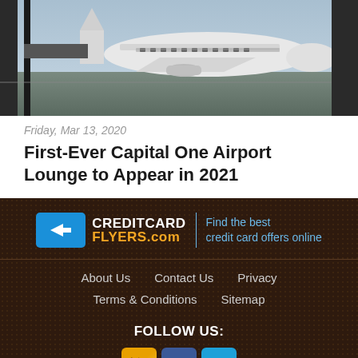[Figure (photo): Airplane at airport gate viewed through terminal windows]
Friday, Mar 13, 2020
First-Ever Capital One Airport Lounge to Appear in 2021
[Figure (logo): CreditCardFlyers.com logo with tagline: Find the best credit card offers online]
About Us  Contact Us  Privacy
Terms & Conditions  Sitemap
FOLLOW US:
[Figure (logo): Social media icons: RSS/email icon, Facebook icon, Twitter icon]